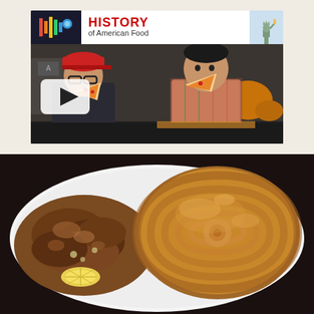[Figure (screenshot): Video thumbnail for 'History of American Food' YouTube video showing two Asian men eating pizza slices, with a YouTube play button overlay. The header shows a colorful logo on the left and 'HISTORY of American Food' text with Statue of Liberty graphic on the right.]
[Figure (photo): Close-up food photo showing two items on a white plate: on the left, a dish covered in brown gravy/sauce with visible onions and a lemon slice, and on the right, a large glazed cinnamon roll with caramel/toffee glaze swirled on top.]